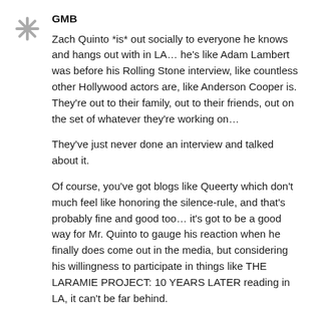GMB
Zach Quinto *is* out socially to everyone he knows and hangs out with in LA... he's like Adam Lambert was before his Rolling Stone interview, like countless other Hollywood actors are, like Anderson Cooper is. They're out to their family, out to their friends, out on the set of whatever they're working on...
They've just never done an interview and talked about it.
Of course, you've got blogs like Queerty which don't much feel like honoring the silence-rule, and that's probably fine and good too... it's got to be a good way for Mr. Quinto to gauge his reaction when he finally does come out in the media, but considering his willingness to participate in things like THE LARAMIE PROJECT: 10 YEARS LATER reading in LA, it can't be far behind.